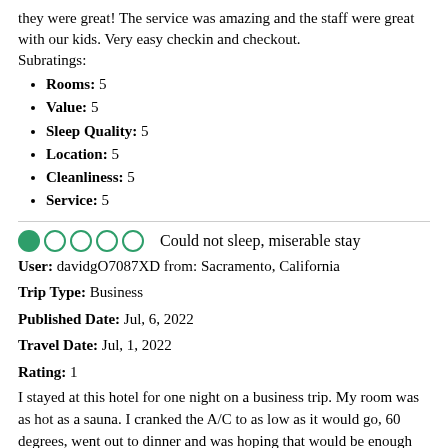they were great! The service was amazing and the staff were great with our kids. Very easy checkin and checkout.
Subratings:
Rooms: 5
Value: 5
Sleep Quality: 5
Location: 5
Cleanliness: 5
Service: 5
Could not sleep, miserable stay
User: davidgO7087XD from: Sacramento, California
Trip Type: Business
Published Date: Jul, 6, 2022
Travel Date: Jul, 1, 2022
Rating: 1
I stayed at this hotel for one night on a business trip. My room was as hot as a sauna. I cranked the A/C to as low as it would go, 60 degrees, went out to dinner and was hoping that would be enough time to cool the room off. When I returned two hours later, it was still a sauna. I told the front desk, and they sent someone up to look at it but they did nothing. They gave me a fan, which was very noisy. I told them it was still incredibly hot and the front desk said that that instead of using a traditional A/C unit, it has a swamp